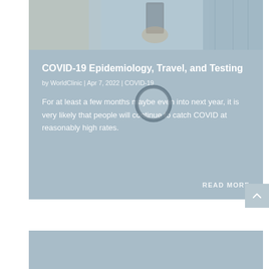[Figure (photo): Photo of people holding smartphones, travel/airport context, muted blue-grey tones]
COVID-19 Epidemiology, Travel, and Testing
by WorldClinic | Apr 7, 2022 | COVID-19
For at least a few months maybe even into next year, it is very likely that people will continue to catch COVID at reasonably high rates.
READ MORE
[Figure (other): Partial blue-grey card at bottom of page, second article card cropped]